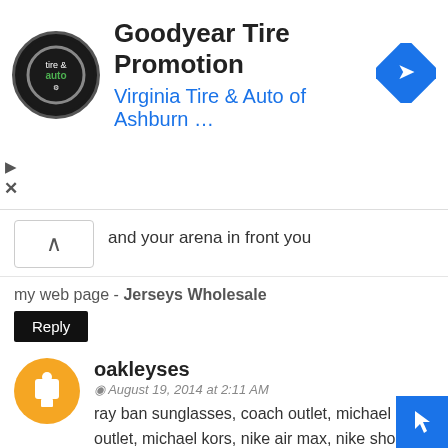[Figure (infographic): Advertisement banner for Goodyear Tire Promotion by Virginia Tire & Auto of Ashburn with logo and navigation icon]
and your arena in front you
my web page - Jerseys Wholesale
Reply
oakleyses
August 19, 2014 at 2:11 AM
ray ban sunglasses, coach outlet, michael kors outlet, michael kors, nike air max, nike shoes, oakley sunglasses, michael kors outlet, louis vuitton outlet online, louboutin, nike free, michael kors outlet, burberry outlet online, gucci outlet, kate spade outlet, air max, true religion jeans, chanel handbags, ray ban, air max, true religion outlet, tory burch outlet, jordan shoes, nike free, toms shoes, longchamp outlet, ray ban sunglasses, oakley sunglasses, prada outlet, michael kors, true religion, ralph lauren, louis vuitton, prada handbags, coach factory outlet, polo